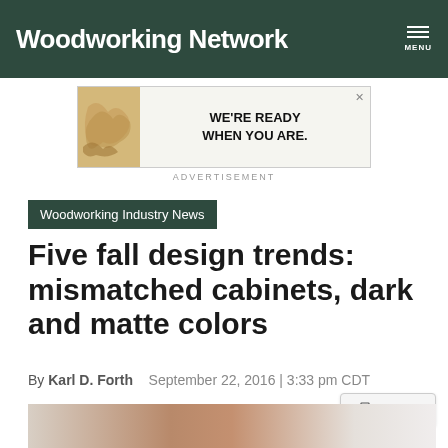Woodworking Network
[Figure (other): Advertisement banner showing wood shavings/curls on the left and the text WE'RE READY WHEN YOU ARE. on the right]
ADVERTISEMENT
Woodworking Industry News
Five fall design trends: mismatched cabinets, dark and matte colors
By Karl D. Forth    September 22, 2016 | 3:33 pm CDT
[Figure (photo): Bottom portion of a cabinet or woodworking piece showing light tan and brown surfaces]